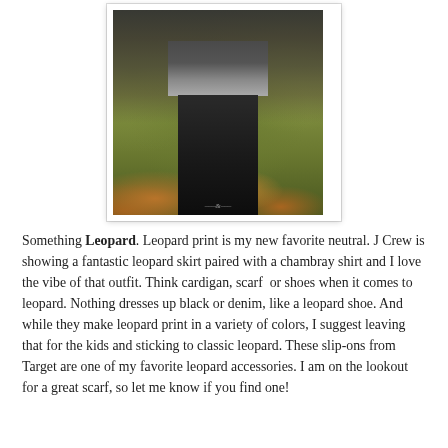[Figure (photo): Outdoor photo of a person from waist down wearing a dark gray/charcoal tunic top with a gray stripe hem, black leggings, and tall black boots. Background shows grass and autumn leaves near what appears to be a hay bale. Photo is displayed in a white polaroid-style frame with drop shadow.]
Something Leopard. Leopard print is my new favorite neutral. J Crew is showing a fantastic leopard skirt paired with a chambray shirt and I love the vibe of that outfit. Think cardigan, scarf  or shoes when it comes to leopard. Nothing dresses up black or denim, like a leopard shoe. And while they make leopard print in a variety of colors, I suggest leaving that for the kids and sticking to classic leopard. These slip-ons from Target are one of my favorite leopard accessories. I am on the lookout for a great scarf, so let me know if you find one!